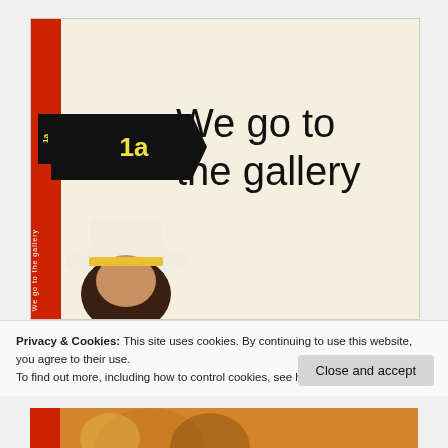[Figure (illustration): Book cover for 'We go to the gallery' - a Ladybird-style reader book. Features a red spine with white text, a black arrow-shaped tag labeled '1a' in yellow, large text reading 'We go to the gallery', and a partial illustration of a person wearing a hat at the bottom left.]
Privacy & Cookies: This site uses cookies. By continuing to use this website, you agree to their use.
To find out more, including how to control cookies, see here: Cookie Policy
Close and accept
[Figure (photo): Bottom strip showing a partial view of what appears to be another book cover with an orange/yellow background and a person's face visible.]